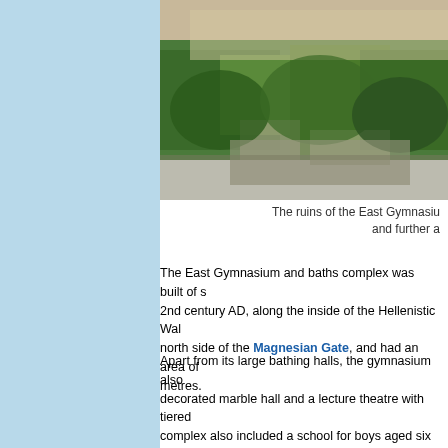[Figure (photo): Aerial or landscape photo of the ruins of the East Gymnasium, showing green vegetation and archaeological remains]
The ruins of the East Gymnasiu... and further a...
The East Gymnasium and baths complex was built of s... 2nd century AD, along the inside of the Hellenistic Wal... north side of the Magnesian Gate, and had an area of... metres.
Apart from its large bathing halls, the gymnasium also... decorated marble hall and a lecture theatre with tiered... complex also included a school for boys aged six to six... basilica built near the road in late antiquity was used a... (see photo below). Statues of Asklepios, Hygeia, Dion...